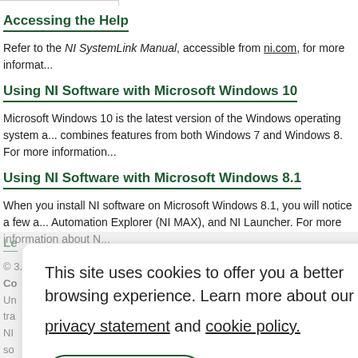Accessing the Help
Refer to the NI SystemLink Manual, accessible from ni.com, for more information.
Using NI Software with Microsoft Windows 10
Microsoft Windows 10 is the latest version of the Windows operating system and combines features from both Windows 7 and Windows 8. For more information...
Using NI Software with Microsoft Windows 8.1
When you install NI software on Microsoft Windows 8.1, you will notice a few additional changes to the desktop, including Measurement & Automation Explorer (NI MAX), and NI Launcher. For more information about NI...
Le
© ...
Co
Un ... ismitted
tra ... al Ins
NI ... o the s
so ... only
res
En
[Figure (other): Cookie consent dialog overlay with text 'This site uses cookies to offer you a better browsing experience. Learn more about our privacy statement and cookie policy.' and a 'Yes, I accept' button.]